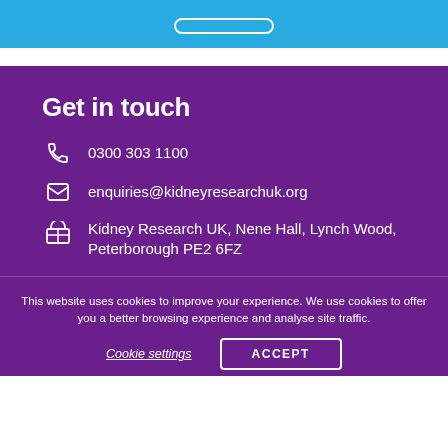[Figure (other): Blue banner section with a white rounded outline button at the top]
Get in touch
0300 303 1100
enquiries@kidneyresearchuk.org
Kidney Research UK, Nene Hall, Lynch Wood, Peterborough PE2 6FZ
This website uses cookies to improve your experience. We use cookies to offer you a better browsing experience and analyse site traffic.
Cookie settings
ACCEPT